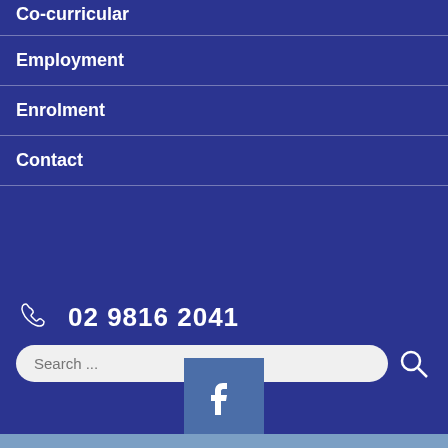Co-curricular
Employment
Enrolment
Contact
02 9816 2041
Search ...
[Figure (logo): Facebook logo icon in blue square]